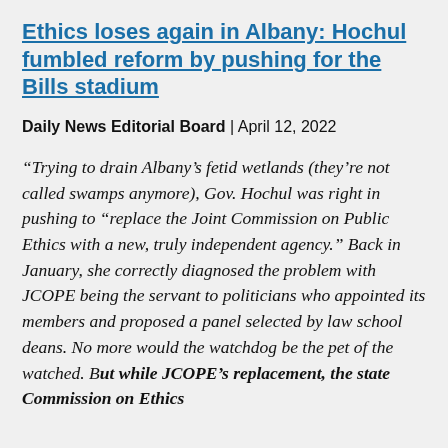Ethics loses again in Albany: Hochul fumbled reform by pushing for the Bills stadium
Daily News Editorial Board | April 12, 2022
“Trying to drain Albany’s fetid wetlands (they’re not called swamps anymore), Gov. Hochul was right in pushing to “replace the Joint Commission on Public Ethics with a new, truly independent agency.” Back in January, she correctly diagnosed the problem with JCOPE being the servant to politicians who appointed its members and proposed a panel selected by law school deans. No more would the watchdog be the pet of the watched. But while JCOPE’s replacement, the state Commission on Ethics